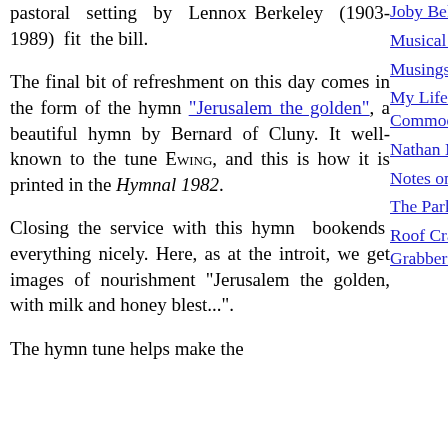pastoral setting by Lennox Berkeley (1903-1989) fit the bill.
The final bit of refreshment on this day comes in the form of the hymn "Jerusalem the golden", a beautiful hymn by Bernard of Cluny. It well-known to the tune EWING, and this is how it is printed in the Hymnal 1982.
Closing the service with this hymn bookends everything nicely. Here, as at the introit, we get images of nourishment "Jerusalem the golden, with milk and honey blest...".
The hymn tune helps make the
Joby Bell, organist
Musical Perceptions
Musings of a Synesthete
My Life as Style, Condition, Commodity.
Nathan Medley, Countertenor
Notes on Music & Liturgy
The Parker Quartet
Roof Crashers & Hem Grabbers